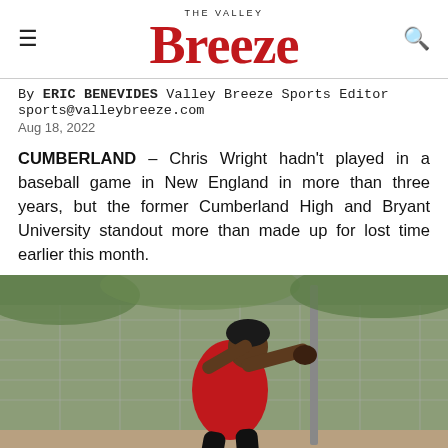THE VALLEY Breeze
By ERIC BENEVIDES Valley Breeze Sports Editor
sports@valleybreeze.com
Aug 18, 2022
CUMBERLAND – Chris Wright hadn't played in a baseball game in New England in more than three years, but the former Cumberland High and Bryant University standout more than made up for lost time earlier this month.
[Figure (photo): A man wearing a red sleeveless shirt and black leggings swings a bat at a baseball field, with a chain-link fence and green foliage in the background.]